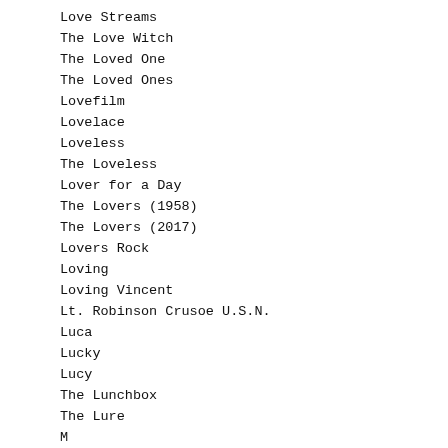Love Streams
The Love Witch
The Loved One
The Loved Ones
Lovefilm
Lovelace
Loveless
The Loveless
Lover for a Day
The Lovers (1958)
The Lovers (2017)
Lovers Rock
Loving
Loving Vincent
Lt. Robinson Crusoe U.S.N.
Luca
Lucky
Lucy
The Lunchbox
The Lure
M